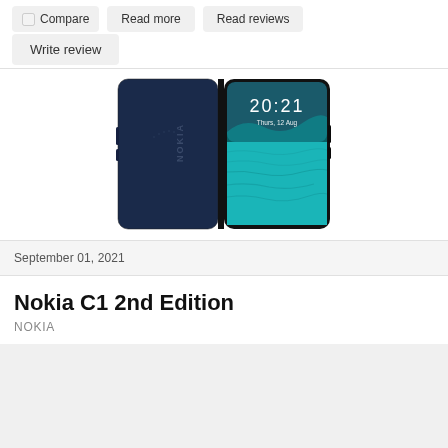Compare
Read more
Read reviews
Write review
[Figure (photo): Nokia smartphone shown from back and front. Back is dark navy blue with NOKIA text. Front shows lock screen with time 20:21 and date Thurs, 12 Aug with ocean/wave wallpaper.]
September 01, 2021
Nokia C1 2nd Edition
NOKIA